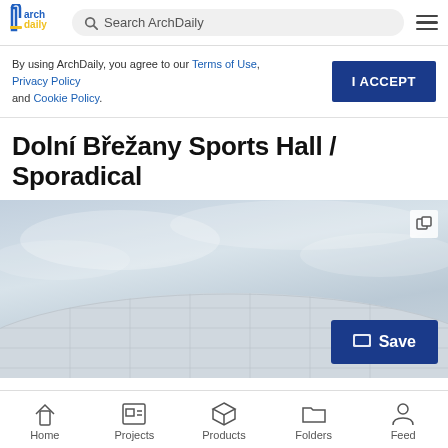ArchDaily — Search ArchDaily
By using ArchDaily, you agree to our Terms of Use, Privacy Policy and Cookie Policy.
I ACCEPT
Dolní Břežany Sports Hall / Sporadical
[Figure (photo): Hero image of Dolní Břežany Sports Hall — a curved dome-shaped building under a grey sky, with a Save button overlay in the bottom right corner.]
Home | Projects | Products | Folders | Feed